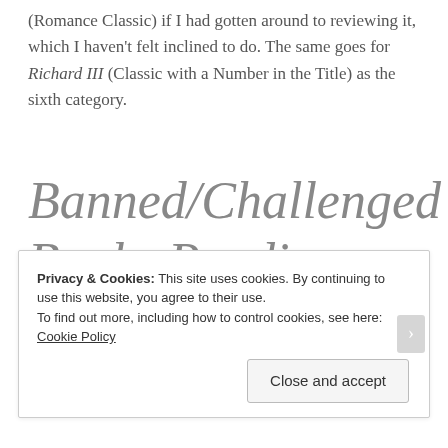(Romance Classic) if I had gotten around to reviewing it, which I haven't felt inclined to do. The same goes for Richard III (Classic with a Number in the Title) as the sixth category.
Banned/Challenged Books Reading Challenge 2017
Privacy & Cookies: This site uses cookies. By continuing to use this website, you agree to their use.
To find out more, including how to control cookies, see here: Cookie Policy
Close and accept